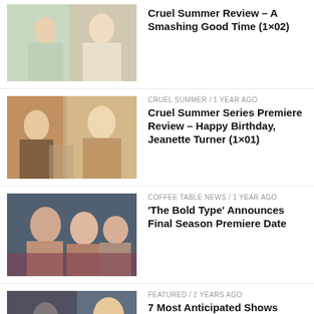[Figure (photo): Two women outdoors, blonde and another woman]
Cruel Summer Review – A Smashing Good Time (1×02)
[Figure (photo): Two women in a store or party setting]
CRUEL SUMMER / 1 year ago
Cruel Summer Series Premiere Review – Happy Birthday, Jeanette Turner (1×01)
[Figure (photo): Group of women hugging]
COFFEE TABLE NEWS / 1 year ago
'The Bold Type' Announces Final Season Premiere Date
[Figure (photo): Man and blonde woman, dark background]
FEATURED / 2 years ago
7 Most Anticipated Shows Coming in the Spring of 2021
[Figure (photo): Women at a social event]
COFFEE TABLE NEWS / 2 years ago
'The Bold Type' Gets Renewed for Mini Fifth and Final Season